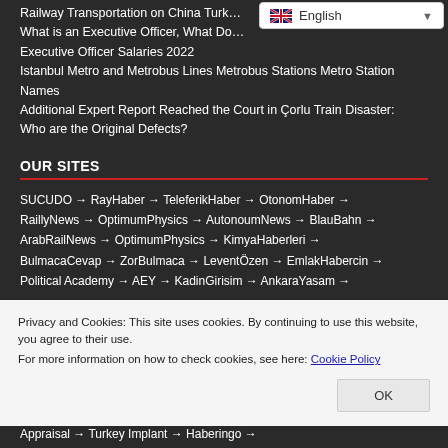Railway Transportation on China Turk…
What is an Executive Officer, What Do… Executive Officer Salaries 2022
Istanbul Metro and Metrobus Lines Metrobus Stations Metro Station Names
Additional Expert Report Reached the Court in Çorlu Train Disaster: Who are the Original Defects?
OUR SITES
SUCUDO → RayHaber → TeleferikHaber → OtonomHaber → RaillyNews → OptimumPhysics → AutonoumNews → BlauBahn → ArabRailNews → OptimumPhysics → KimyaHaberleri → BulmacaCevap → ZorBulmaca → LeventÖzen → EmlakHabercin → Political Academy → AEY → KadinGirisim → AnkaraYasam →
Privacy and Cookies: This site uses cookies. By continuing to use this website, you agree to their use.
For more information on how to check cookies, see here: Cookie Policy
Appraisal → Turkey Implant → Haberingo →